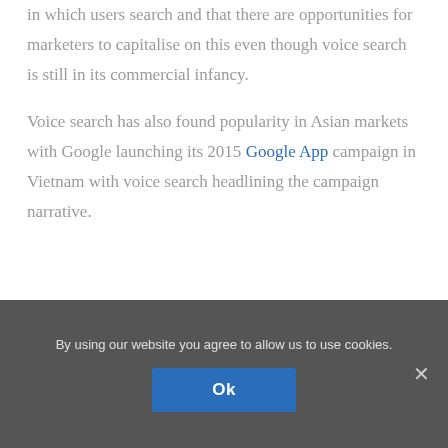in which users search and that there are opportunities for marketers to capitalise on this even though voice search is still in its commercial infancy.
Voice search has also found popularity in Asian markets with Google launching its 2015 Google App campaign in Vietnam with voice search headlining the campaign narrative.
Voice search and SEO
By using our website you agree to allow us to use cookies.